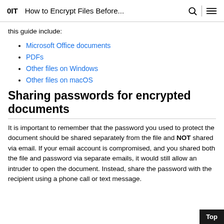0IT  How to Encrypt Files Before...
this guide include:
Microsoft Office documents
PDFs
Other files on Windows
Other files on macOS
Sharing passwords for encrypted documents
It is important to remember that the password you used to protect the document should be shared separately from the file and NOT shared via email. If your email account is compromised, and you shared both the file and password via separate emails, it would still allow an intruder to open the document. Instead, share the password with the recipient using a phone call or text message.